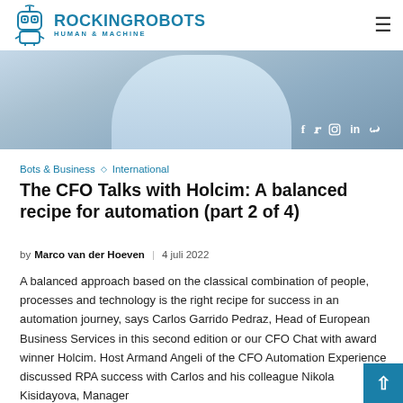ROCKINGROBOTS HUMAN & MACHINE
[Figure (photo): Hero image of a man in a light blue shirt with social media icons (Facebook, Twitter, Instagram, LinkedIn, RSS) overlaid in white]
Bots & Business ◇ International
The CFO Talks with Holcim: A balanced recipe for automation (part 2 of 4)
by Marco van der Hoeven | 4 juli 2022
A balanced approach based on the classical combination of people, processes and technology is the right recipe for success in an automation journey, says Carlos Garrido Pedraz, Head of European Business Services in this second edition or our CFO Chat with award winner Holcim. Host Armand Angeli of the CFO Automation Experience discussed RPA success with Carlos and his colleague Nikola Kisidayova, Manager